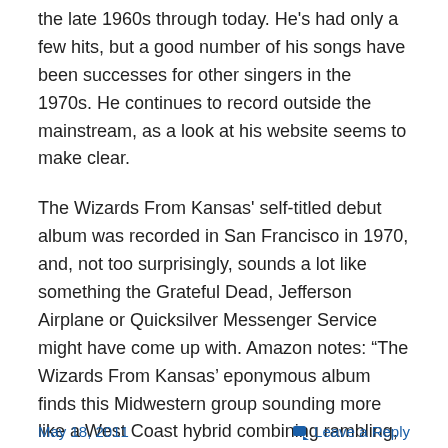the late 1960s through today. He's had only a few hits, but a good number of his songs have been successes for other singers in the 1970s. He continues to record outside the mainstream, as a look at his website seems to make clear.
The Wizards From Kansas' self-titled debut album was recorded in San Francisco in 1970, and, not too surprisingly, sounds a lot like something the Grateful Dead, Jefferson Airplane or Quicksilver Messenger Service might have come up with. Amazon notes: “The Wizards From Kansas’ eponymous album finds this Midwestern group sounding more like a West Coast hybrid combining rambling, melancholy country-rock elements with harder psych-rock sounds.” It’s kind of fun, though.
May 18, 2011   Leave a Reply